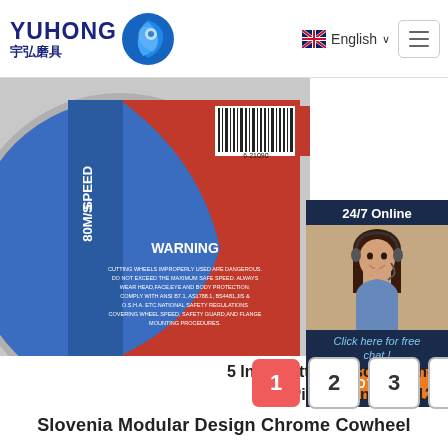YUHONG 宇弘磨具 | English | Menu
[Figure (photo): A 5-inch cutting disc label showing WARNING text, SPEED 80M/S, barcode, and product branding on a red and blue background]
[Figure (photo): Customer service agent chat widget with 24/7 Online label, photo of woman with headset, Click here for free chat, and QUOTATION button]
5 Inch Cutting Disc, Cutting All Kinds Of Metal Pipes, 5 Inches (125X1.6X22)
1
2
3
>
Slovenia Modular Design Chrome Cowheel